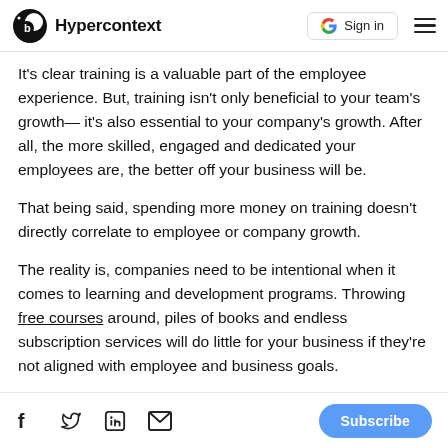Hypercontext | Sign in
It's clear training is a valuable part of the employee experience. But, training isn't only beneficial to your team's growth— it's also essential to your company's growth. After all, the more skilled, engaged and dedicated your employees are, the better off your business will be.
That being said, spending more money on training doesn't directly correlate to employee or company growth.
The reality is, companies need to be intentional when it comes to learning and development programs. Throwing free courses around, piles of books and endless subscription services will do little for your business if they're not aligned with employee and business goals.
By keeping your business vision and goals top-of-mind when developing your training programs, you'll be able to:
Facebook Twitter LinkedIn Email | Subscribe